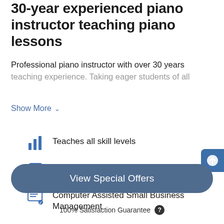30-year experienced piano instructor teaching piano lessons
Professional piano instructor with over 30 years teaching experience. Taking eager students of all
Show More
Teaches all skill levels
Teaching since 1981
Computer Assisted Small Business Management
View Special Offers
100% Satisfaction Guarantee